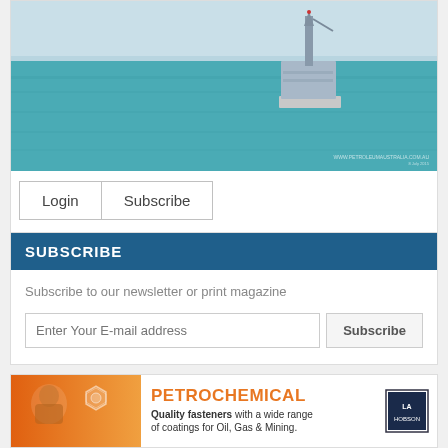[Figure (photo): Offshore oil drilling rig on turquoise ocean water with light blue sky. Watermark text: www.petroleumaustralia.com.au and a date.]
Login   Subscribe
SUBSCRIBE
Subscribe to our newsletter or print magazine
Enter Your E-mail address   Subscribe
[Figure (infographic): Petrochemical advertisement banner with orange background section featuring a hexagon gear icon and worker face, bold orange text PETROCHEMICAL, subtitle Quality fasteners with a wide range of coatings for Oil, Gas & Mining, and a Hobson logo in the top right corner.]